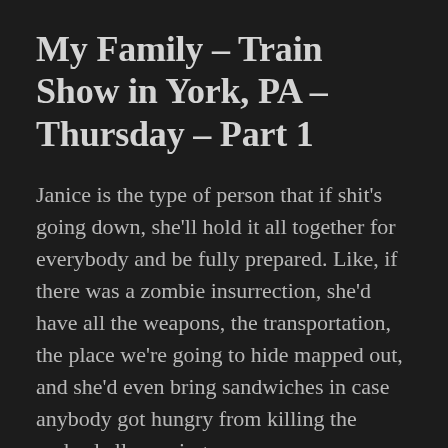My Family – Train Show in York, PA – Thursday – Part 1
Janice is the type of person that if shit's going down, she'll hold it all together for everybody and be fully prepared. Like, if there was a zombie insurrection, she'd have all the weapons, the transportation, the place we're going to hide mapped out, and she'd even bring sandwiches in case anybody got hungry from killing the undead all morning.